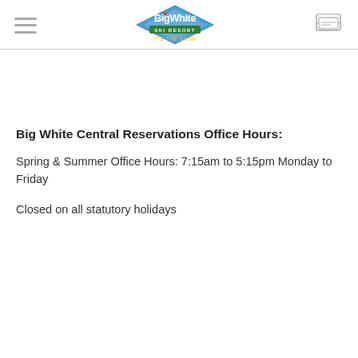Big White Ski Resort Logo, hamburger menu, and ticket icon
Big White Central Reservations Office Hours:
Spring & Summer Office Hours: 7:15am to 5:15pm Monday to Friday
Closed on all statutory holidays